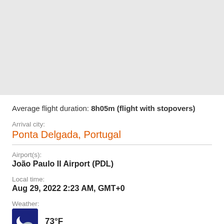[Figure (map): Gray map placeholder area at the top of the page]
Average flight duration: 8h05m (flight with stopovers)
Arrival city:
Ponta Delgada, Portugal
Airport(s):
João Paulo II Airport (PDL)
Local time:
Aug 29, 2022 2:23 AM, GMT+0
Weather:
[Figure (illustration): Night weather icon showing moon/cloud]
73°F